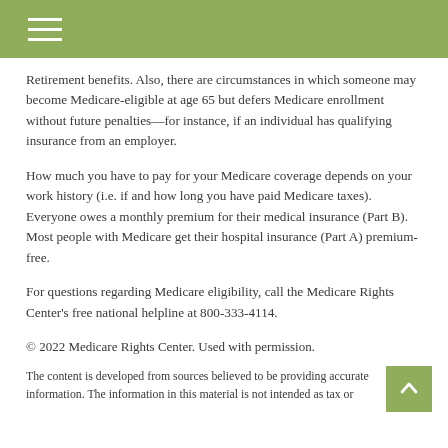Retirement benefits. Also, there are circumstances in which someone may become Medicare-eligible at age 65 but defers Medicare enrollment without future penalties—for instance, if an individual has qualifying insurance from an employer.
How much you have to pay for your Medicare coverage depends on your work history (i.e. if and how long you have paid Medicare taxes). Everyone owes a monthly premium for their medical insurance (Part B). Most people with Medicare get their hospital insurance (Part A) premium-free.
For questions regarding Medicare eligibility, call the Medicare Rights Center's free national helpline at 800-333-4114.
© 2022 Medicare Rights Center. Used with permission.
The content is developed from sources believed to be providing accurate information. The information in this material is not intended as tax or